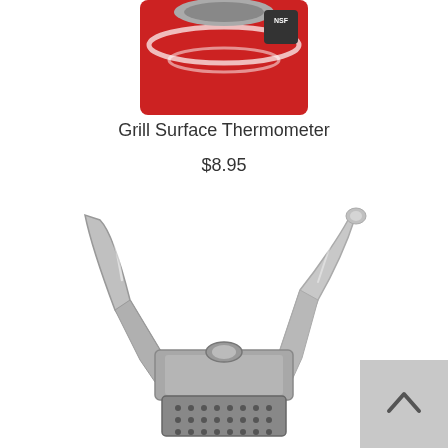[Figure (photo): Top portion of a red grill surface thermometer with NSF label visible]
Grill Surface Thermometer
$8.95
[Figure (photo): Chrome/silver colored garlic press or kitchen tool shown from above, with textured grid on the bottom and two handles]